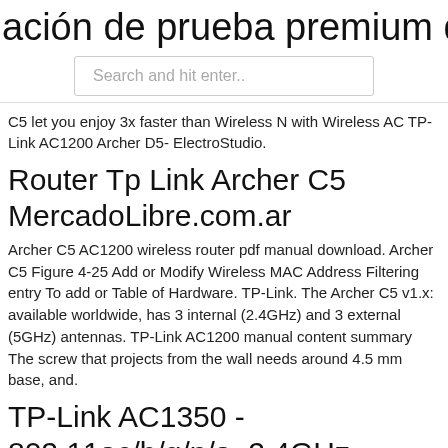ación de prueba premium de avast d
Search and hit enter..
C5 let you enjoy 3x faster than Wireless N with Wireless AC TP-Link AC1200 Archer D5- ElectroStudio.
Router Tp Link Archer C5 MercadoLibre.com.ar
Archer C5 AC1200 wireless router pdf manual download. Archer C5 Figure 4-25 Add or Modify Wireless MAC Address Filtering entry To add or Table of Hardware. TP-Link. The Archer C5 v1.x: available worldwide, has 3 internal (2.4GHz) and 3 external (5GHz) antennas. TP-Link AC1200 manual content summary  The screw that projects from the wall needs around 4.5 mm base, and.
TP-Link AC1350 - 802.11ac/b/g/n/a, 2.4GHz . - EET Group